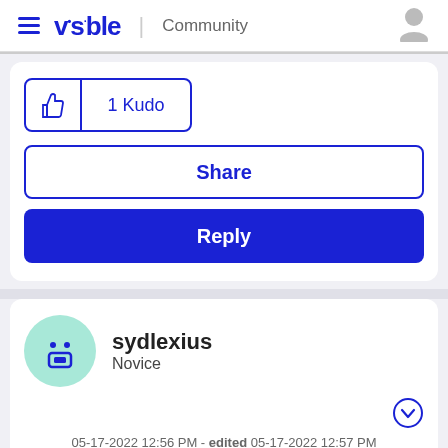visible | Community
[Figure (screenshot): Kudo button with thumbs up icon showing '1 Kudo']
Share
Reply
[Figure (illustration): User avatar: teal circle with robot/face icon for sydlexius]
sydlexius
Novice
05-17-2022 12:56 PM - edited 05-17-2022 12:57 PM